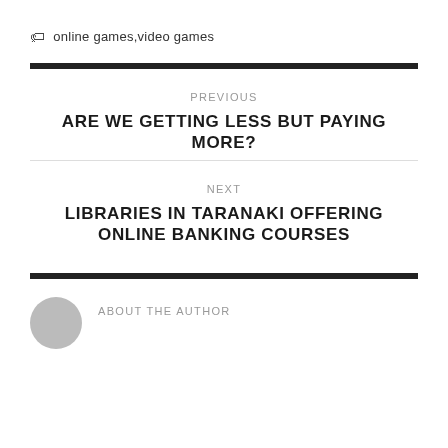online games,video games
PREVIOUS
ARE WE GETTING LESS BUT PAYING MORE?
NEXT
LIBRARIES IN TARANAKI OFFERING ONLINE BANKING COURSES
ABOUT THE AUTHOR